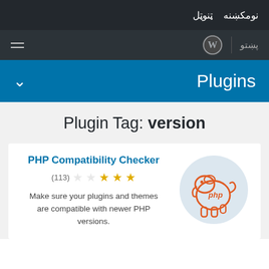نومکښنه ټنوټل
پښتو | WordPress logo
Plugins
Plugin Tag: version
PHP Compatibility Checker
(113) ★★★★★
Make sure your plugins and themes are compatible with newer PHP versions.
[Figure (illustration): PHP elephant logo in orange on a light blue circle background]